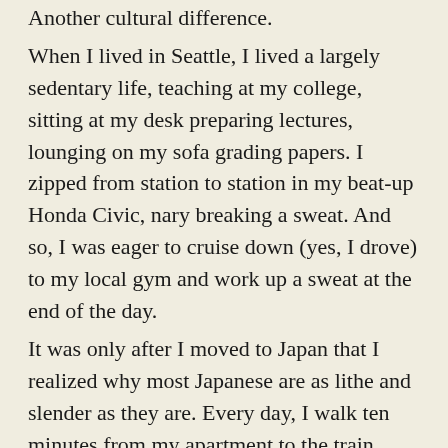Another cultural difference. When I lived in Seattle, I lived a largely sedentary life, teaching at my college, sitting at my desk preparing lectures, lounging on my sofa grading papers. I zipped from station to station in my beat-up Honda Civic, nary breaking a sweat. And so, I was eager to cruise down (yes, I drove) to my local gym and work up a sweat at the end of the day. It was only after I moved to Japan that I realized why most Japanese are as lithe and slender as they are. Every day, I walk ten minutes from my apartment to the train station, where there are no less than six flights of stairs to climb and descend. While I take a breather on the escalator, countless salarymen and schoolgirls leave me in their dust, as they bound up the escalator in a cardio-frenzy. On any given day on campus, I might have to labor up nine flights of stairs to reach my office because the elevator is packed. Heck, I walk 20 minutes to my gym just so I can pedal 40